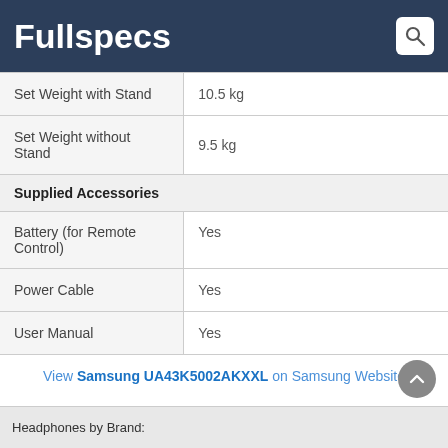Fullspecs
| Set Weight with Stand | 10.5 kg |
| Set Weight without Stand | 9.5 kg |
| Supplied Accessories |  |
| Battery (for Remote Control) | Yes |
| Power Cable | Yes |
| User Manual | Yes |
View Samsung UA43K5002AKXXL on Samsung Website
Headphones by Brand: